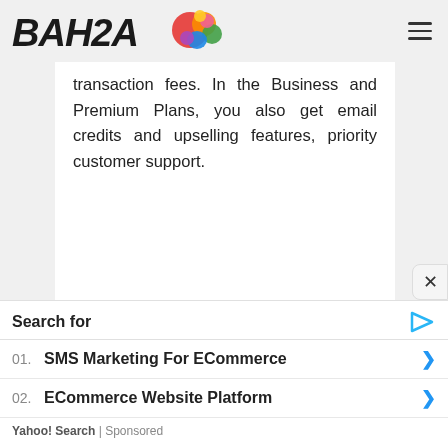[Figure (logo): BAHIA logo with stylized bold italic text and colorful blob/splatter graphic]
transaction fees. In the Business and Premium Plans, you also get email credits and upselling features, priority customer support.
Search for
01. SMS Marketing For ECommerce
02. ECommerce Website Platform
Yahoo! Search | Sponsored